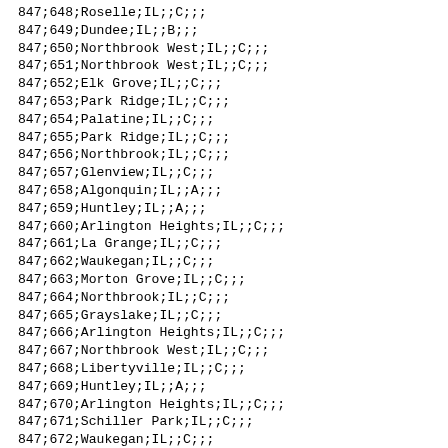| NPA | NXX | City | State | Blank1 | Type | Blank2 | Blank3 | Blank4 |
| --- | --- | --- | --- | --- | --- | --- | --- | --- |
| 847 | 648 | Roselle | IL |  | C |  |  |  |
| 847 | 649 | Dundee | IL |  | B |  |  |  |
| 847 | 650 | Northbrook West | IL |  | C |  |  |  |
| 847 | 651 | Northbrook West | IL |  | C |  |  |  |
| 847 | 652 | Elk Grove | IL |  | C |  |  |  |
| 847 | 653 | Park Ridge | IL |  | C |  |  |  |
| 847 | 654 | Palatine | IL |  | C |  |  |  |
| 847 | 655 | Park Ridge | IL |  | C |  |  |  |
| 847 | 656 | Northbrook | IL |  | C |  |  |  |
| 847 | 657 | Glenview | IL |  | C |  |  |  |
| 847 | 658 | Algonquin | IL |  | A |  |  |  |
| 847 | 659 | Huntley | IL |  | A |  |  |  |
| 847 | 660 | Arlington Heights | IL |  | C |  |  |  |
| 847 | 661 | La Grange | IL |  | C |  |  |  |
| 847 | 662 | Waukegan | IL |  | C |  |  |  |
| 847 | 663 | Morton Grove | IL |  | C |  |  |  |
| 847 | 664 | Northbrook | IL |  | C |  |  |  |
| 847 | 665 | Grayslake | IL |  | C |  |  |  |
| 847 | 666 | Arlington Heights | IL |  | C |  |  |  |
| 847 | 667 | Northbrook West | IL |  | C |  |  |  |
| 847 | 668 | Libertyville | IL |  | C |  |  |  |
| 847 | 669 | Huntley | IL |  | A |  |  |  |
| 847 | 670 | Arlington Heights | IL |  | C |  |  |  |
| 847 | 671 | Schiller Park | IL |  | C |  |  |  |
| 847 | 672 | Waukegan | IL |  | C |  |  |  |
| 847 | 673 | Skokie | IL |  | C |  |  |  |
| 847 | 674 | Skokie | IL |  | C |  |  |  |
| 847 | 675 | Skokie | IL |  | C |  |  |  |
| 847 | 676 | Skokie | IL |  | C |  |  |  |
| 847 | 677 | Skokie | IL |  | C |  |  |  |